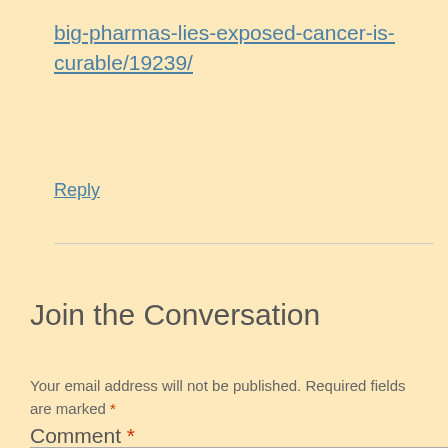big-pharmas-lies-exposed-cancer-is-curable/19239/
Reply
Join the Conversation
Your email address will not be published. Required fields are marked *
Comment *